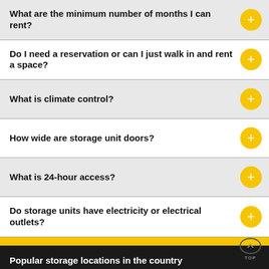What are the minimum number of months I can rent?
Do I need a reservation or can I just walk in and rent a space?
What is climate control?
How wide are storage unit doors?
What is 24-hour access?
Do storage units have electricity or electrical outlets?
Popular storage locations in the country
Atlanta
New York
Austin
Orlando